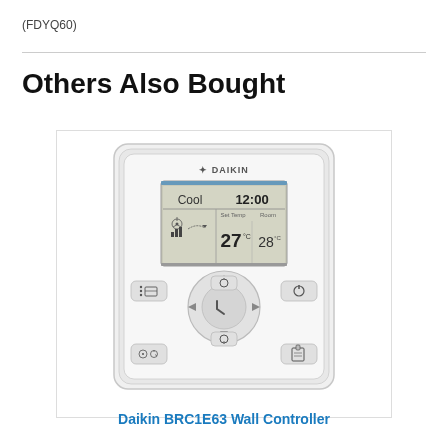(FDYQ60)
Others Also Bought
[Figure (photo): Daikin BRC1E63 Wall Controller device photograph showing LCD display with Cool mode, 12:00 time, Set Temp 27°C, Room 28°C, and control buttons including directional pad, power, fan, and mode buttons.]
Daikin BRC1E63 Wall Controller